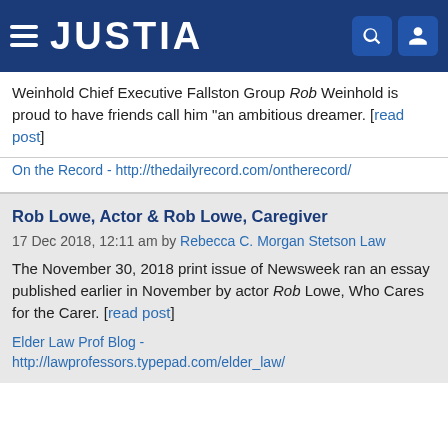JUSTIA
Weinhold Chief Executive Fallston Group Rob Weinhold is proud to have friends call him "an ambitious dreamer. [read post]
On the Record - http://thedailyrecord.com/ontherecord/
Rob Lowe, Actor & Rob Lowe, Caregiver
17 Dec 2018, 12:11 am by Rebecca C. Morgan Stetson Law
The November 30, 2018 print issue of Newsweek ran an essay published earlier in November by actor Rob Lowe, Who Cares for the Carer. [read post]
Elder Law Prof Blog - http://lawprofessors.typepad.com/elder_law/